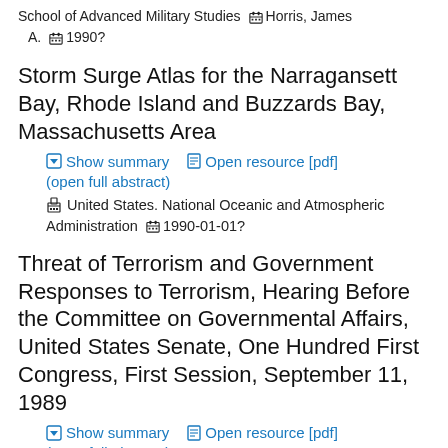School of Advanced Military Studies  🏛 Horris, James A.  📅 1990?
Storm Surge Atlas for the Narragansett Bay, Rhode Island and Buzzards Bay, Massachusetts Area
Show summary   Open resource [pdf]  (open full abstract)
🏛 United States. National Oceanic and Atmospheric Administration   📅 1990-01-01?
Threat of Terrorism and Government Responses to Terrorism, Hearing Before the Committee on Governmental Affairs, United States Senate, One Hundred First Congress, First Session, September 11, 1989
Show summary   Open resource [pdf]  (open full abstract)
🏛 United States. Government Printing Office   📅